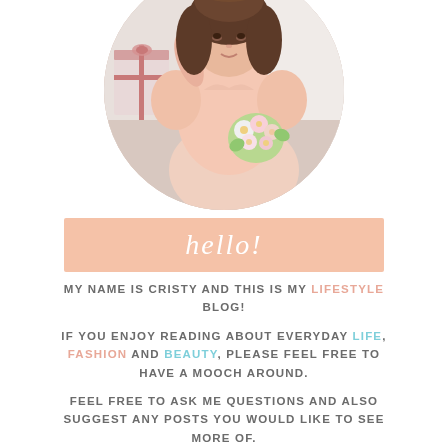[Figure (photo): Circular cropped photo of a woman in a pink dress holding a bouquet of flowers, posed in a bright room with a gift box visible in the background]
hello!
MY NAME IS CRISTY AND THIS IS MY LIFESTYLE BLOG!
IF YOU ENJOY READING ABOUT EVERYDAY LIFE, FASHION AND BEAUTY, PLEASE FEEL FREE TO HAVE A MOOCH AROUND.
FEEL FREE TO ASK ME QUESTIONS AND ALSO SUGGEST ANY POSTS YOU WOULD LIKE TO SEE MORE OF.